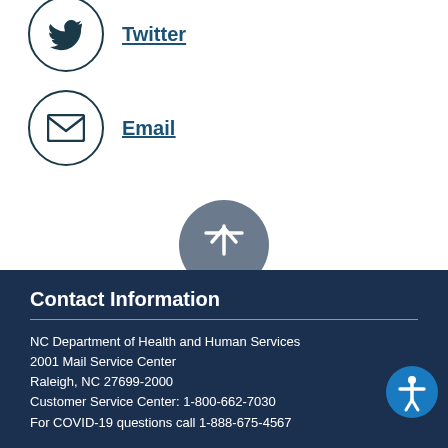[Figure (illustration): Twitter social media icon in a circle with underlined Twitter text link]
[Figure (illustration): Email icon (envelope) in a circle with underlined Email text link]
[Figure (illustration): Gray scroll-to-top button with upward arrow]
Contact Information
NC Department of Health and Human Services
2001 Mail Service Center
Raleigh, NC 27699-2000
Customer Service Center: 1-800-662-7030
For COVID-19 questions call 1-888-675-4567
[Figure (illustration): Accessibility icon button (blue circle with person symbol) in bottom right corner]